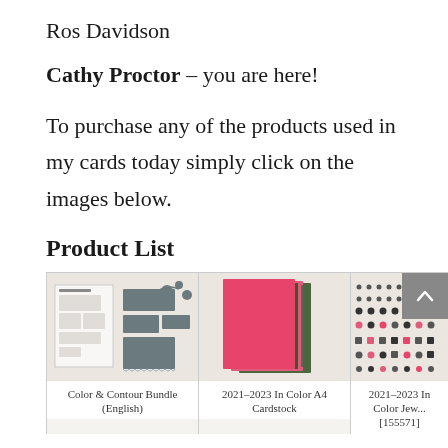Ros Davidson
Cathy Proctor – you are here!
To purchase any of the products used in my cards today simply click on the images below.
Product List
[Figure (photo): Product grid showing Color & Contour Bundle (English), 2021-2023 In Color A4 Cardstock, and 2021-2023 In Color Jewels [155571] with product images]
Color & Contour Bundle (English)
2021–2023 In Color A4 Cardstock
2021–2023 In Color Jew... [155571]